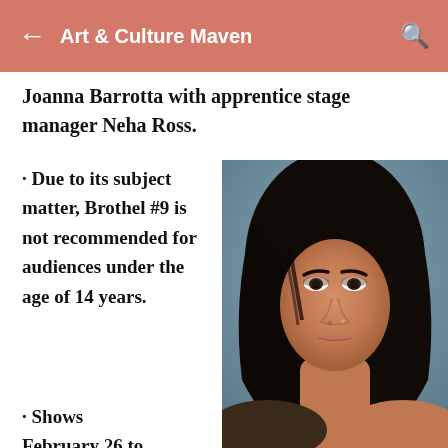Art & Culture Maven
Joanna Barrotta with apprentice stage manager Neha Ross.
· Due to its subject matter, Brothel #9 is not recommended for audiences under the age of 14 years.
· Shows February 26 to
[Figure (photo): Headshot of a young woman with long dark hair, wearing light makeup, against a grey-blue studio background.]